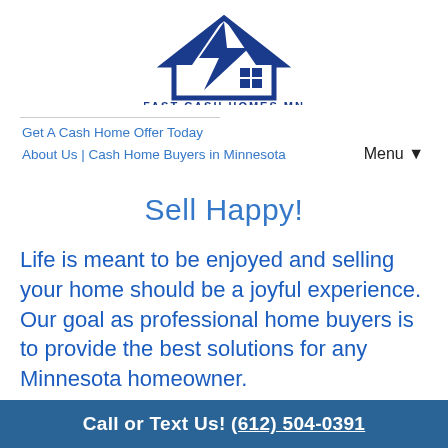[Figure (logo): Fast Cash Homes MN logo: blue house/lightning bolt icon above the text FAST CASH HOMES MN]
Get A Cash Home Offer Today
About Us | Cash Home Buyers in Minnesota
Sell Happy!
Life is meant to be enjoyed and selling your home should be a joyful experience. Our goal as professional home buyers is to provide the best solutions for any Minnesota homeowner.
Call or Text Us! (612) 504-0391